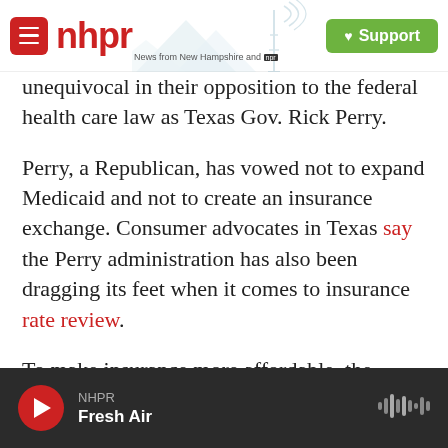nhpr — News from New Hampshire and NPR | Support
unequivocal in their opposition to the federal health care law as Texas Gov. Rick Perry.
Perry, a Republican, has vowed not to expand Medicaid and not to create an insurance exchange. Consumer advocates in Texas say the Perry administration has also been dragging its feet when it comes to insurance rate review.
To make insurance more affordable, the federal law requires every state to conduct a special review whenever a health insurer wants to raise premiums more than 10 percent. This rate review
NHPR — Fresh Air